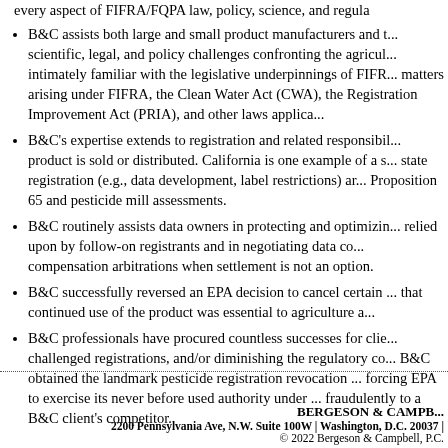every aspect of FIFRA/FQPA law, policy, science, and regu­la­...
B&C assists both large and small product manufacturers and t... scientific, legal, and policy challenges confronting the agricul... intimately familiar with the legislative underpinnings of FIFR... matters arising under FIFRA, the Clean Water Act (CWA), the... Registration Improvement Act (PRIA), and other laws applica...
B&C's expertise extends to registration and related responsib... product is sold or distributed. California is one example of a s... state registration (e.g., data development, label restrictions) ar... Proposition 65 and pesticide mill assessments.
B&C routinely assists data owners in protecting and optimizin... relied upon by follow-on registrants and in negotiating data co... compensation arbitrations when settlement is not an option.
B&C successfully reversed an EPA decision to cancel certain ... that continued use of the product was essential to agriculture a...
B&C professionals have procured countless successes for clie... challenged registrations, and/or diminishing the regulatory co... B&C obtained the landmark pesticide registration revocation ... forcing EPA to exercise its never before used authority under ... fraudulently to a B&C client's competitor.
BERGESON & CAMPB... | 2200 Pennsylvania Ave, N.W. Suite 100W | Washington, D.C. 20037 | © 2022 Bergeson & Campbell, P.C.